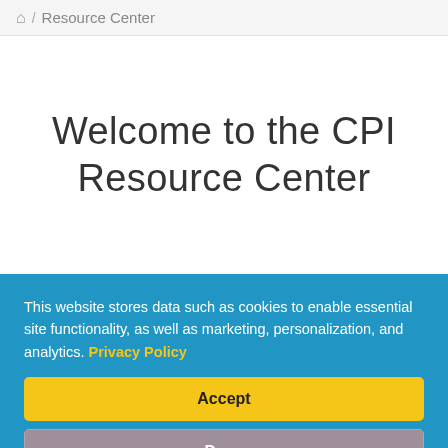🏠 / Resource Center
Welcome to the CPI Resource Center
This website stores data such as cookies to enable essential site functionality, as well as marketing, personalization, and analytics. Privacy Policy
Accept
Deny